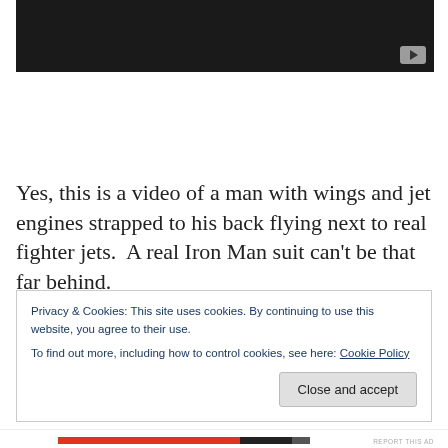[Figure (screenshot): Dark video thumbnail with a play button icon in the bottom right corner]
Yes, this is a video of a man with wings and jet engines strapped to his back flying next to real fighter jets.  A real Iron Man suit can't be that far behind.
Privacy & Cookies: This site uses cookies. By continuing to use this website, you agree to their use.
To find out more, including how to control cookies, see here: Cookie Policy
Close and accept